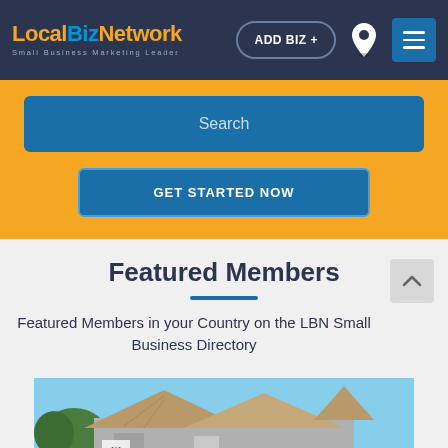LocalBizNetwork - Small Business Marketing Leader | ADD BIZ +
Search
GET STARTED NOW
Featured Members
Featured Members in your Country on the LBN Small Business Directory
[Figure (photo): Photograph of a building with a thatched/tiled roof against a blue sky, partial view at the bottom of the page]